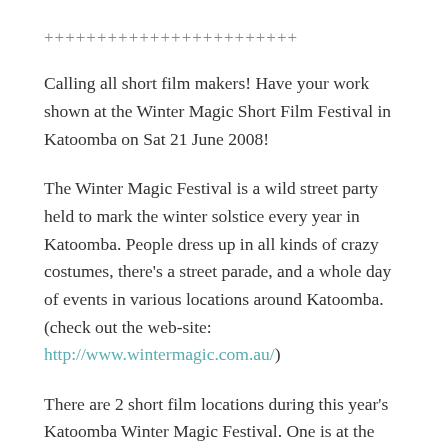++++++++++++++++++++++++
Calling all short film makers! Have your work shown at the Winter Magic Short Film Festival in Katoomba on Sat 21 June 2008!
The Winter Magic Festival is a wild street party held to mark the winter solstice every year in Katoomba. People dress up in all kinds of crazy costumes, there’s a street parade, and a whole day of events in various locations around Katoomba. (check out the web-site: http://www.wintermagic.com.au/)
There are 2 short film locations during this year’s Katoomba Winter Magic Festival. One is at the